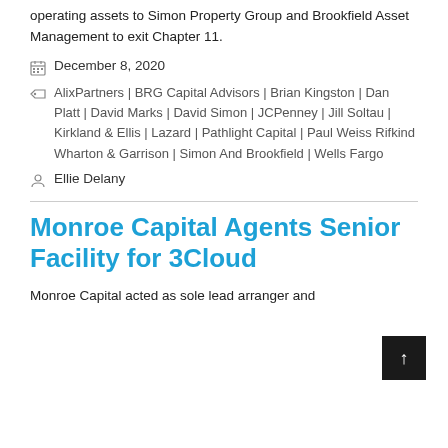operating assets to Simon Property Group and Brookfield Asset Management to exit Chapter 11.
December 8, 2020
AlixPartners | BRG Capital Advisors | Brian Kingston | Dan Platt | David Marks | David Simon | JCPenney | Jill Soltau | Kirkland & Ellis | Lazard | Pathlight Capital | Paul Weiss Rifkind Wharton & Garrison | Simon And Brookfield | Wells Fargo
Ellie Delany
Monroe Capital Agents Senior Facility for 3Cloud
Monroe Capital acted as sole lead arranger and